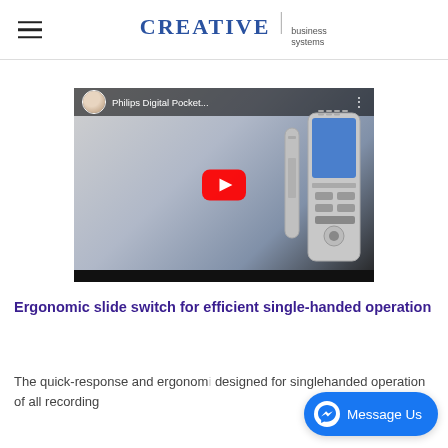CREATIVE business systems
[Figure (screenshot): YouTube video thumbnail for Philips Digital Pocket... showing a dictation recorder device and a man in a suit, with red YouTube play button overlay, dark top bar with channel avatar and video title, and black bottom bar.]
Ergonomic slide switch for efficient single-handed operation
The quick-response and ergonom... designed for singlehanded operation of all recording